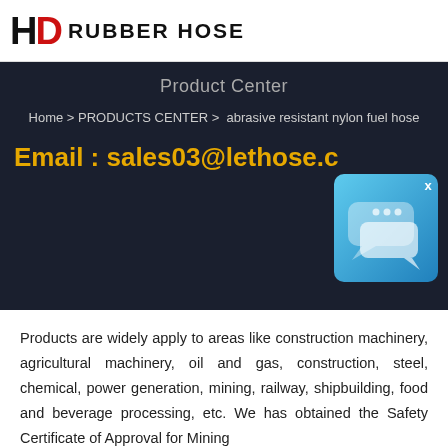HD RUBBER HOSE
Product Center
Home > PRODUCTS CENTER > abrasive resistant nylon fuel hose
Email : sales03@lethose.c
[Figure (illustration): Chat/messaging popup icon with speech bubble on blue gradient background with X close button]
Products are widely apply to areas like construction machinery, agricultural machinery, oil and gas, construction, steel, chemical, power generation, mining, railway, shipbuilding, food and beverage processing, etc. We has obtained the Safety Certificate of Approval for Mining